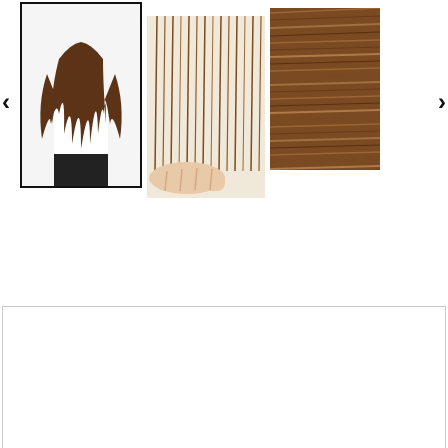[Figure (photo): Three product thumbnails: (1) woman wearing brown wavy hair extensions, selected with black border; (2) close-up of brown straight hair held by hand; (3) close-up macro of brown hair texture]
[Figure (other): Large white product display area with light border]
[Figure (other): Language selector button showing 'English >' in tan/gold color]
[Figure (other): Accessibility icon - circle with person symbol and star decorations, labeled '451 Reviews']
451 Reviews
[Figure (other): Mail/envelope icon button in tan/gold square]
Shipping calculated at checkout.